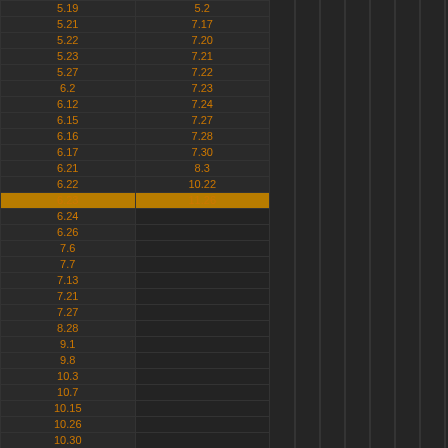| Col1 | Col2 |
| --- | --- |
| 5.19 | 5.2 |
| 5.21 | 7.17 |
| 5.22 | 7.20 |
| 5.23 | 7.21 |
| 5.27 | 7.22 |
| 6.2 | 7.23 |
| 6.12 | 7.24 |
| 6.15 | 7.27 |
| 6.16 | 7.28 |
| 6.17 | 7.30 |
| 6.21 | 8.3 |
| 6.22 | 10.22 |
| 6.23 | 11.26 |
| 6.24 |  |
| 6.26 |  |
| 7.6 |  |
| 7.7 |  |
| 7.13 |  |
| 7.21 |  |
| 7.27 |  |
| 8.28 |  |
| 9.1 |  |
| 9.8 |  |
| 10.3 |  |
| 10.7 |  |
| 10.15 |  |
| 10.26 |  |
| 10.30 |  |
| 11.3 |  |
| 11.9 |  |
| 11.10 |  |
| 11.16 |  |
| 11.17 |  |
| 11.23 |  |
| 11.24 |  |
| 11.26 |  |
| 12.1 |  |
| 12.2 |  |